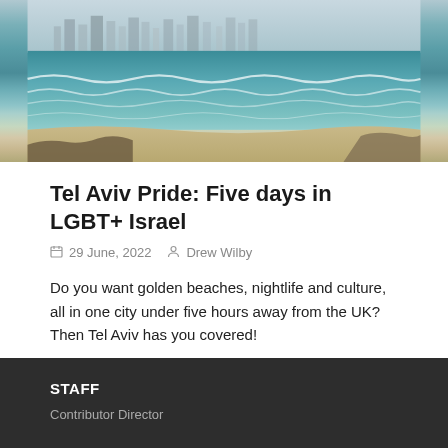[Figure (photo): Aerial coastal view of Tel Aviv showing turquoise sea with waves, sandy beach, and city skyline in background]
Tel Aviv Pride: Five days in LGBT+ Israel
29 June, 2022   Drew Wilby
Do you want golden beaches, nightlife and culture, all in one city under five hours away from the UK? Then Tel Aviv has you covered!
STAFF
Contributor Director